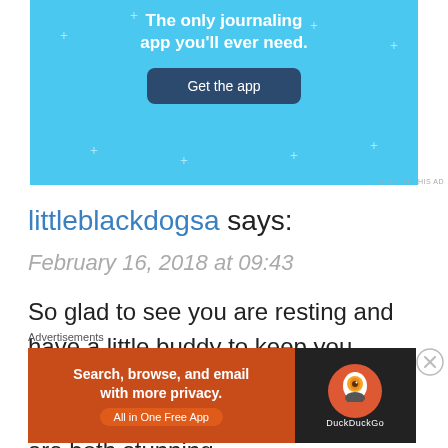[Figure (screenshot): Blue advertisement banner for a journaling app with 'The only journaling app you'll ever need.' text and a 'Get the app' button]
REPORT THIS AD
littleblackdogsa says:
February 16, 2018 at 09:43
So glad to see you are resting and have a little buddy to keep you company. Cutest ever. I love the blankets you are working on. They are both stunning.
Advertisements
[Figure (screenshot): DuckDuckGo advertisement: orange background on left with 'Search, browse, and email with more privacy. All in One Free App', DuckDuckGo logo on dark background on right]